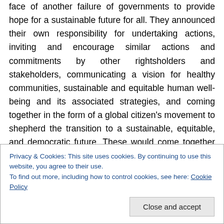face of another failure of governments to provide hope for a sustainable future for all. They announced their own responsibility for undertaking actions, inviting and encourage similar actions and commitments by other rightsholders and stakeholders, communicating a vision for healthy communities, sustainable and equitable human well-being and its associated strategies, and coming together in the form of a global citizen's movement to shepherd the transition to a sustainable, equitable, and democratic future. These would come together in the form of a global citizen's movement to shepherd the transition
Privacy & Cookies: This site uses cookies. By continuing to use this website, you agree to their use.
To find out more, including how to control cookies, see here: Cookie Policy